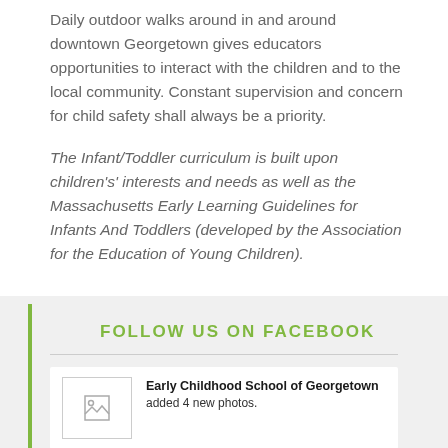Daily outdoor walks around in and around downtown Georgetown gives educators opportunities to interact with the children and to the local community.  Constant supervision and concern for child safety shall always be a priority.
The Infant/Toddler curriculum is built upon children's' interests and needs as well as the Massachusetts Early Learning Guidelines for Infants And Toddlers (developed by the Association for the Education of Young Children).
FOLLOW US ON FACEBOOK
[Figure (screenshot): Facebook post thumbnail image placeholder]
Early Childhood School of Georgetown added 4 new photos.